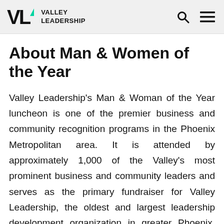VALLEY LEADERSHIP
About Man & Women of the Year
Valley Leadership's Man & Woman of the Year luncheon is one of the premier business and community recognition programs in the Phoenix Metropolitan area. It is attended by approximately 1,000 of the Valley's most prominent business and community leaders and serves as the primary fundraiser for Valley Leadership, the oldest and largest leadership development organization in greater Phoenix. Nominations for this prestigious award are accepted each year from the